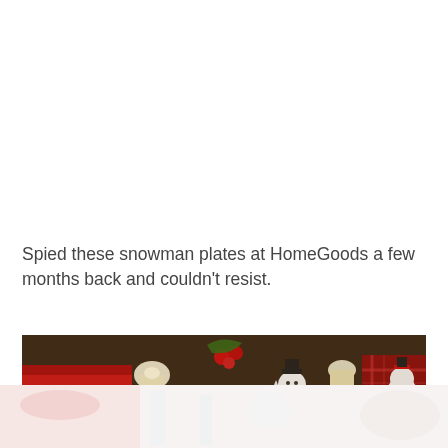Spied these snowman plates at HomeGoods a few months back and couldn't resist.
[Figure (photo): Christmas holiday table setting with red candle, white snowman decorations, candles, red berries, and festive tableware — top portion]
[Figure (photo): Christmas holiday table setting — bottom faded/reflected portion showing snowman figurines and decorations]